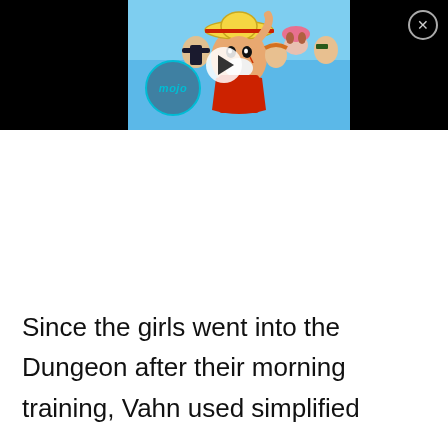[Figure (screenshot): A video player thumbnail showing One Piece anime characters including Luffy in a red vest and straw hat, with other crew members behind him against a blue sky background. A WatchMojo logo circle is visible in the lower left of the thumbnail. A play button is centered on the thumbnail. A close (X) button is in the top right corner of the video player. The video player has a black background with the thumbnail centered.]
Since the girls went into the Dungeon after their morning training, Vahn used simplified